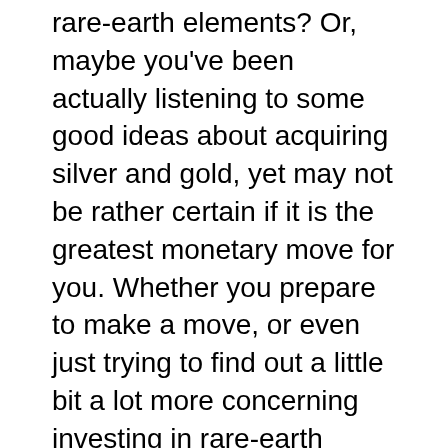rare-earth elements? Or, maybe you've been actually listening to some good ideas about acquiring silver and gold, yet may not be rather certain if it is the greatest monetary move for you. Whether you prepare to make a move, or even just trying to find out a little bit a lot more concerning investing in rare-earth elements, you'll intend to look into Augusta Valuable Metals.
Augusta Precious Metals is a gold investment firm that aids people obtain gold and silver for private investments and also establishing Gold or Silver IRAs for retirement life. If you are actually pondering whether Augusta Valuable Metals is the best gold investment firm to pick out of the several choices on the market, take a couple of moments to go